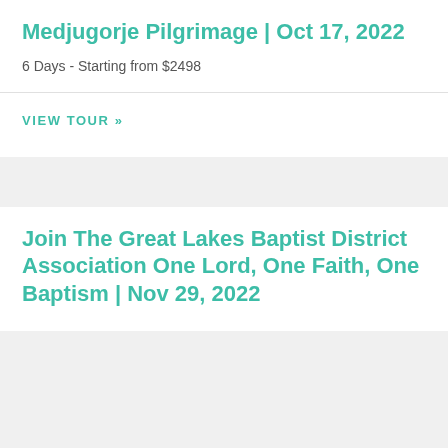Medjugorje Pilgrimage | Oct 17, 2022
6 Days - Starting from $2498
VIEW TOUR »
Join The Great Lakes Baptist District Association One Lord, One Faith, One Baptism | Nov 29, 2022